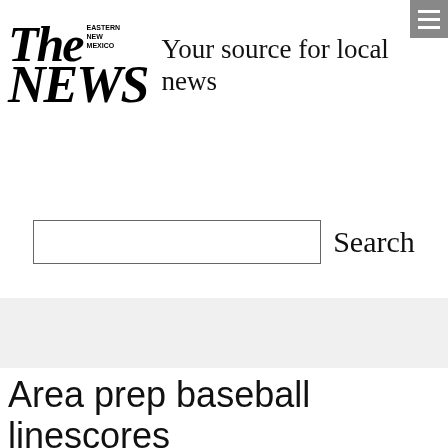The Eastern New Mexico NEWS — Your source for local news
Search
Area prep baseball linescores